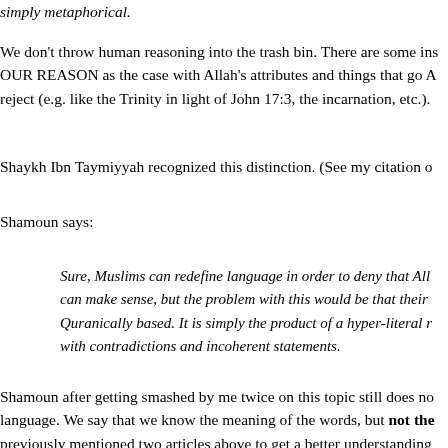simply metaphorical.
We don't throw human reasoning into the trash bin. There are some instances where things go ABOVE OUR REASON as the case with Allah's attributes and things that go AGAINST our reason which we reject (e.g. like the Trinity in light of John 17:3, the incarnation, etc.).
Shaykh Ibn Taymiyyah recognized this distinction. (See my citation o
Shamoun says:
Sure, Muslims can redefine language in order to deny that Allo can make sense, but the problem with this would be that their o Quranically based. It is simply the product of a hyper-literal re with contradictions and incoherent statements.
Shamoun after getting smashed by me twice on this topic still does no language. We say that we know the meaning of the words, but not the previously mentioned two articles above to get a better understanding